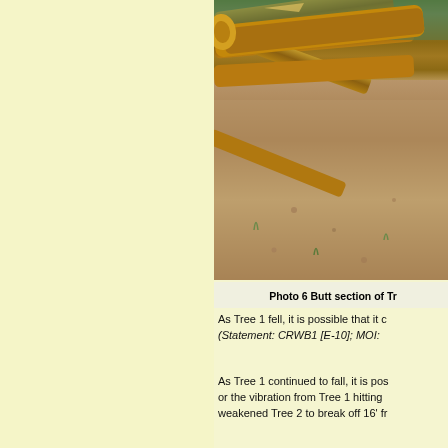[Figure (photo): Photo of fallen tree butt sections (logs) lying on the ground with dirt and sparse vegetation visible.]
Photo 6 Butt section of Tr
As Tree 1 fell, it is possible that it c (Statement: CRWB1 [E-10]; MOI:
As Tree 1 continued to fall, it is pos or the vibration from Tree 1 hitting weakened Tree 2 to break off 16' fr